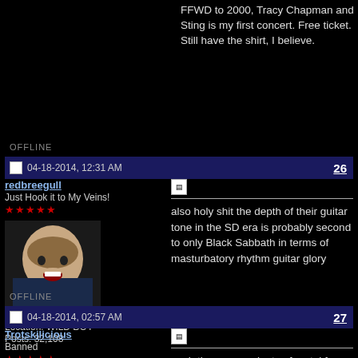FFWD to 2000, Tracy Chapman and Sting is my first concert. Free ticket. Still have the shirt, I believe.
OFFLINE
04-18-2014, 12:31 AM  26
redbreegull
Just Hook it to My Veins!
★★★★★
Location: WILD BOY
Posts: 32,108
also holy shit the depth of their guitar tone in the SD era is probably second to only Black Sabbath in terms of masturbatory rhythm guitar glory
OFFLINE
04-18-2014, 02:57 AM  27
Trotskilicious
Banned
★★★★★
yeah there were plenty of metal fans who liked MCIS and even SD